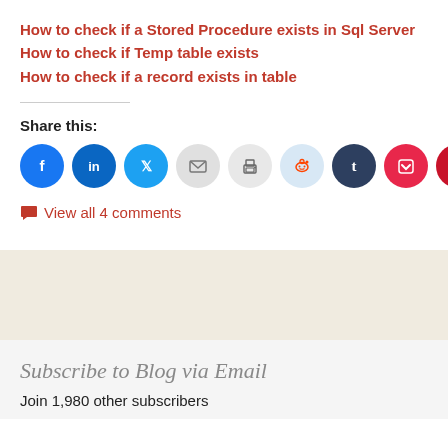How to check if a Stored Procedure exists in Sql Server
How to check if Temp table exists
How to check if a record exists in table
Share this:
[Figure (other): Row of social media share buttons: Facebook, LinkedIn, Twitter, Email, Print, Reddit, Tumblr, Pocket, Pinterest]
View all 4 comments
Subscribe to Blog via Email
Join 1,980 other subscribers